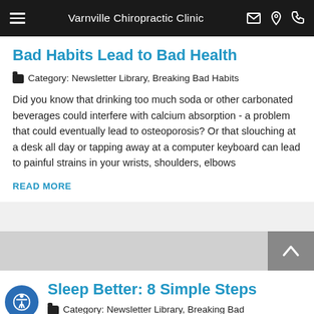Varnville Chiropractic Clinic
Bad Habits Lead to Bad Health
Category: Newsletter Library, Breaking Bad Habits
Did you know that drinking too much soda or other carbonated beverages could interfere with calcium absorption - a problem that could eventually lead to osteoporosis? Or that slouching at a desk all day or tapping away at a computer keyboard can lead to painful strains in your wrists, shoulders, elbows
READ MORE
Sleep Better: 8 Simple Steps
Category: Newsletter Library, Breaking Bad